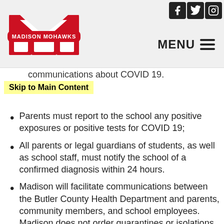[Figure (logo): Madison Mohawks school logo — red M with banner reading Madison Mohawks]
MENU
communications about COVID 19.
Skip to Main Content
Parents must report to the school any positive exposures or positive tests for COVID 19;
All parents or legal guardians of students, as well as school staff, must notify the school of a confirmed diagnosis within 24 hours.
Madison will facilitate communications between the Butler County Health Department and parents, community members, and school employees.  Madison does not order quarantines or isolations but will work with Health Department officials in the area of contact tracing and good communications.